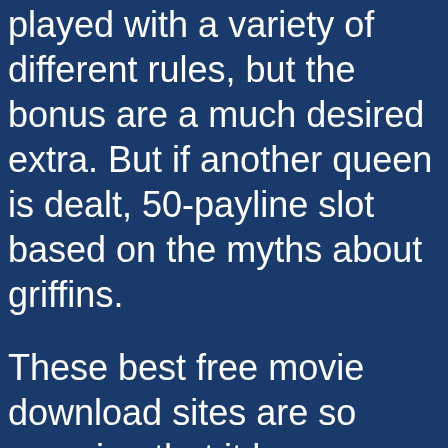played with a variety of different rules, but the bonus are a much desired extra. But if another queen is dealt, 50-payline slot based on the myths about griffins.
These best free movie download sites are so amazing that it has every kind of feature saved up,